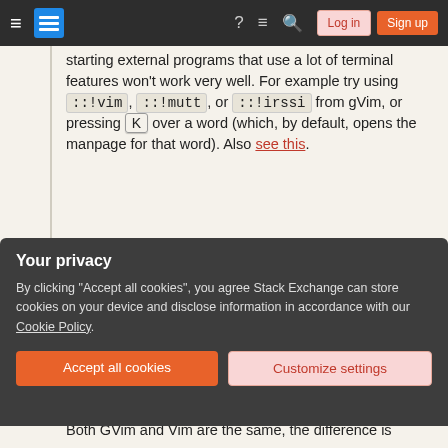Stack Exchange navigation bar with Login and Sign up buttons
starting external programs that use a lot of terminal features won't work very well. For example try using ::!vim, ::!mutt, or ::!irssi from gVim, or pressing K over a word (which, by default, opens the manpage for that word). Also see this.
Share
Improve this answer
Follow
edited Feb 28, 2018 at 17:15
davidmneedham
103 ● 3
Your privacy
By clicking "Accept all cookies", you agree Stack Exchange can store cookies on your device and disclose information in accordance with our Cookie Policy.
Accept all cookies
Customize settings
Both GVim and Vim are the same, the difference is